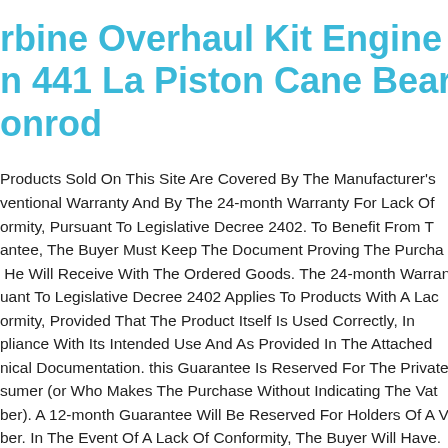rbine Overhaul Kit Engine Mercedes n 441 La Piston Cane Bearing Tour onrod
Products Sold On This Site Are Covered By The Manufacturer's ventional Warranty And By The 24-month Warranty For Lack Of ormity, Pursuant To Legislative Decree 2402. To Benefit From T antee, The Buyer Must Keep The Document Proving The Purcha He Will Receive With The Ordered Goods. The 24-month Warran uant To Legislative Decree 2402 Applies To Products With A Lac ormity, Provided That The Product Itself Is Used Correctly, In pliance With Its Intended Use And As Provided In The Attached nical Documentation. this Guarantee Is Reserved For The Private sumer (or Who Makes The Purchase Without Indicating The Vat ber). A 12-month Guarantee Will Be Reserved For Holders Of A V ber. In The Event Of A Lack Of Conformity, The Buyer Will Have.